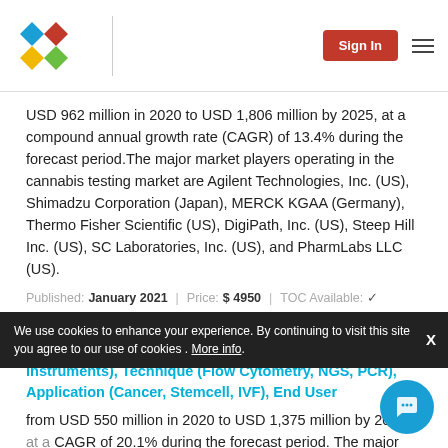Logo | Sign In | Menu
USD 962 million in 2020 to USD 1,806 million by 2025, at a compound annual growth rate (CAGR) of 13.4% during the forecast period.The major market players operating in the cannabis testing market are Agilent Technologies, Inc. (US), Shimadzu Corporation (Japan), MERCK KGAA (Germany), Thermo Fisher Scientific (US), DigiPath, Inc. (US), Steep Hill Inc. (US), SC Laboratories, Inc. (US), and PharmLabs LLC (US).
Published: January 2021 | Price: $ 4950 | TOC Available: ✓
Asia Pacific Single-cell Analysis Market by Cell Type (Human, Animal, Microbial), Product (Reagent, Assays, Instruments), Technique (Flow Cytometry, NGS, PCR), Application (Cancer, Stemcell, IVF), End User
from USD 550 million in 2020 to USD 1,375 million by 2025, at a CAGR of 20.1% during the forecast period. The major players operating in this market are Becton, Dickinson and Company (US), Danaher Corporation (US), Merck Millipore (US), FLUIDIGM